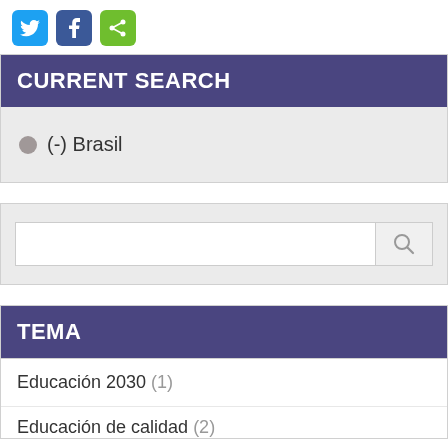[Figure (other): Social media share buttons: Twitter (blue), Facebook (dark blue), Share (green)]
CURRENT SEARCH
(-) Brasil
[Figure (other): Search input box with search icon button]
TEMA
Educación 2030 (1)
Educación de calidad (2)